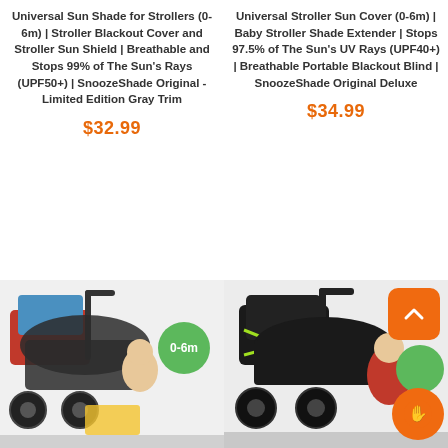Universal Sun Shade for Strollers (0-6m) | Stroller Blackout Cover and Stroller Sun Shield | Breathable and Stops 99% of The Sun's Rays (UPF50+) | SnoozeShade Original - Limited Edition Gray Trim
$32.99
Universal Stroller Sun Cover (0-6m) | Baby Stroller Shade Extender | Stops 97.5% of The Sun's UV Rays (UPF40+) | Breathable Portable Blackout Blind | SnoozeShade Original Deluxe
$34.99
[Figure (photo): Product photo of stroller with sun shade cover on left side, with green '0-6m' badge overlay]
[Figure (photo): Product photo of dark stroller with sun shade on right side, with orange scroll-to-top button and green/orange UI badges]